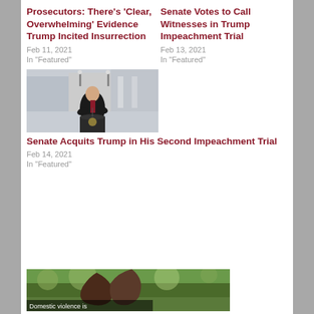Prosecutors: There’s ‘Clear, Overwhelming’ Evidence Trump Incited Insurrection
Feb 11, 2021
In "Featured"
Senate Votes to Call Witnesses in Trump Impeachment Trial
Feb 13, 2021
In "Featured"
[Figure (photo): Person speaking at podium outdoors, appears to be Trump at rally]
Senate Acquits Trump in His Second Impeachment Trial
Feb 14, 2021
In "Featured"
[Figure (photo): Close-up nature photo, appears to show a bird or animal. Text overlay reads: Domestic violence is]